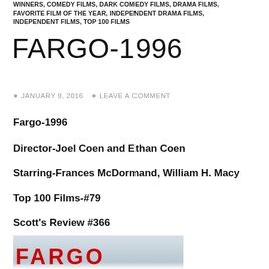WINNERS, COMEDY FILMS, DARK COMEDY FILMS, DRAMA FILMS, FAVORITE FILM OF THE YEAR, INDEPENDENT DRAMA FILMS, INDEPENDENT FILMS, TOP 100 FILMS
FARGO-1996
JANUARY 9, 2016   LEAVE A COMMENT
Fargo-1996
Director-Joel Coen and Ethan Coen
Starring-Frances McDormand, William H. Macy
Top 100 Films-#79
Scott's Review #366
[Figure (photo): Movie poster for Fargo (1996) showing the title 'FARGO' in large red bold letters against a light sky/snow background]